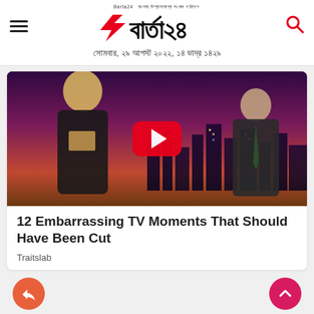Barta24 — সোমবার, ২৯ আগস্ট ২০২২, ১৪ ভাদ্র ১৪২৯
[Figure (screenshot): YouTube-style video thumbnail showing a TV talk show scene with a blonde woman in a bikini top and a male host in a suit, with a city skyline backdrop and a red YouTube play button overlay]
12 Embarrassing TV Moments That Should Have Been Cut
Traitslab
Share and scroll-to-top buttons